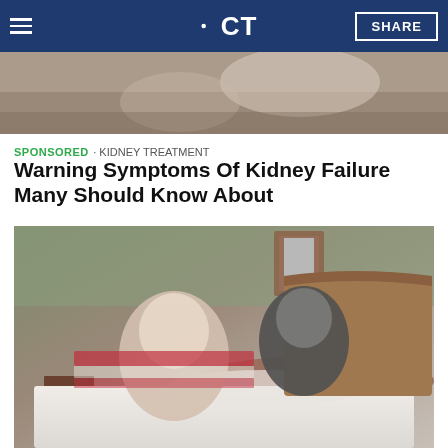NBC CT — Navigation bar with hamburger menu, NBC CT logo, and SHARE button
[Figure (photo): Top cropped photo showing a medical or body-related scene, partially visible at top of page]
SPONSORED · KIDNEY TREATMENT
Warning Symptoms Of Kidney Failure Many Should Know About
[Figure (photo): Photo of an elderly couple (woman with glasses and striped sweater, man in black shirt) leaning over a bed with white bedding and a wooden headboard, in a bedroom setting]